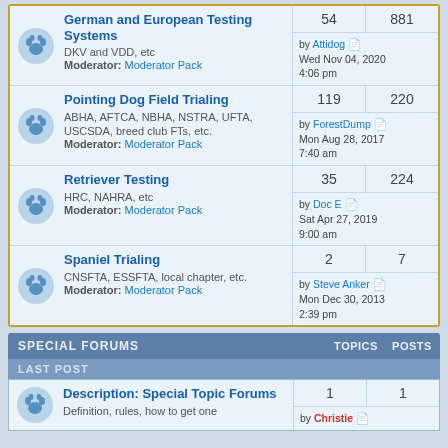German and European Testing Systems — DKV and VDD, etc — Moderator: Moderator Pack — 54 topics, 881 posts — by Attidog Wed Nov 04, 2020 4:06 pm
Pointing Dog Field Trialing — ABHA, AFTCA, NBHA, NSTRA, UFTA, USCSDA, breed club FTs, etc. — Moderator: Moderator Pack — 119 topics, 220 posts — by ForestDump Mon Aug 28, 2017 7:40 am
Retriever Testing — HRC, NAHRA, etc — Moderator: Moderator Pack — 35 topics, 224 posts — by Doc E Sat Apr 27, 2019 9:00 am
Spaniel Trialing — CNSFTA, ESSFTA, local chapter, etc. — Moderator: Moderator Pack — 2 topics, 7 posts — by Steve Anker Mon Dec 30, 2013 2:39 pm
SPECIAL FORUMS — TOPICS — POSTS — LAST POST
Description: Special Topic Forums — Definition, rules, how to get one — 1 topic, 1 post — by Christie